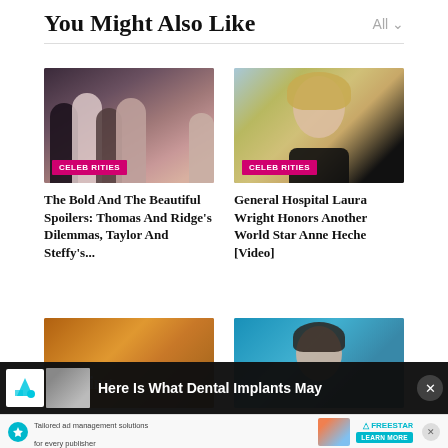You Might Also Like
All
[Figure (photo): TV show cast group photo — The Bold and the Beautiful characters, with CELEBRITIES badge]
The Bold And The Beautiful Spoilers: Thomas And Ridge's Dilemmas, Taylor And Steffy's...
[Figure (photo): Portrait of Laura Wright, blonde woman in black dress, with CELEBRITIES badge]
General Hospital Laura Wright Honors Another World Star Anne Heche [Video]
[Figure (photo): Gold glitter background with text 'dancing' — bottom left card]
[Figure (photo): Woman portrait on blue background — bottom right card]
Here Is What Dental Implants May
[Figure (screenshot): Freestar ad banner — Tailored ad management solutions for every publisher, with LEARN MORE button]